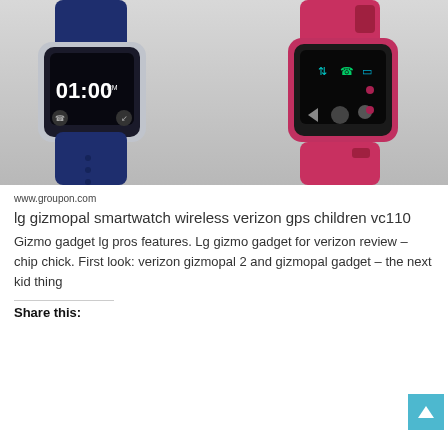[Figure (photo): Two LG Gizmopal smartwatches side by side — one in dark navy blue and one in pink/red — showing digital watch faces with time display and touch buttons, against a light grey background.]
www.groupon.com
lg gizmopal smartwatch wireless verizon gps children vc110
Gizmo gadget lg pros features. Lg gizmo gadget for verizon review – chip chick. First look: verizon gizmopal 2 and gizmopal gadget – the next kid thing
Share this: